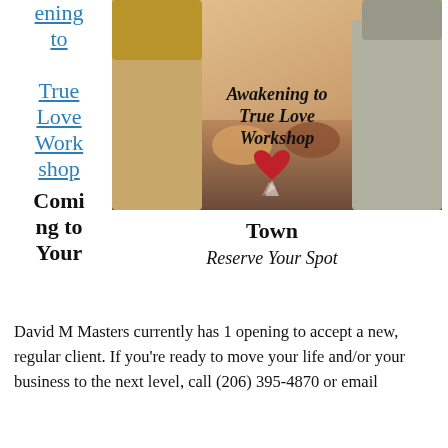ening to True Love Workshop Coming to Your
[Figure (photo): Promotional image for 'Awakening to True Love Workshop' showing two people holding hands with a heart, with the workshop title text overlaid in italic script.]
Town
Reserve Your Spot
David M Masters currently has 1 opening to accept a new, regular client. If you're ready to move your life and/or your business to the next level, call (206) 395-4870 or email